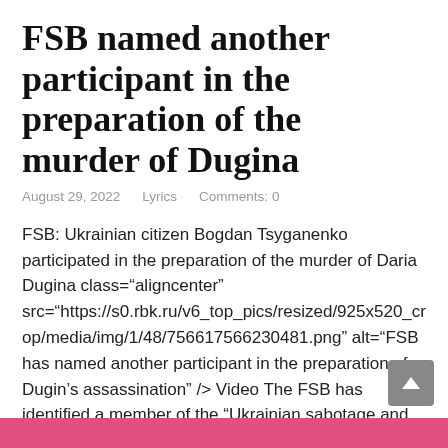FSB named another participant in the preparation of the murder of Dugina
August 29, 2022    Lyrics    Comments: 0
FSB: Ukrainian citizen Bogdan Tsyganenko participated in the preparation of the murder of Daria Dugina class="aligncenter" src="https://s0.rbk.ru/v6_top_pics/resized/925x520_crop/media/img/1/48/756617566230481.png" alt="FSB has named another participant in the preparation of Dugin's assassination" /> Video The FSB has identified a member of the “Ukrainian sabotage and terrorist group” who, together with Natalia Vovk, was preparing the murder of Daria Dugina— ...